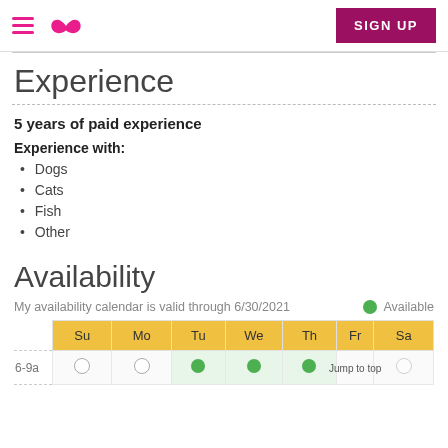Rover navigation bar with hamburger menu, logo, and SIGN UP button
Experience
5 years of paid experience
Experience with:
Dogs
Cats
Fish
Other
Availability
My availability calendar is valid through 6/30/2021
[Figure (table-as-image): Availability calendar grid with days Su Mo Tu We Th Fr Sa and time row 6-9a showing empty circles for Su/Mo and green filled circles for Tu/We/Th]
Available